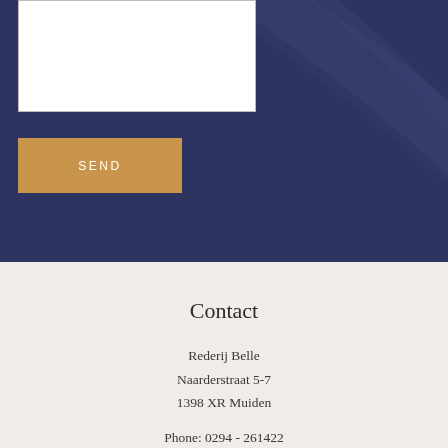[Figure (other): Dark navy blue background section with decorative diagonal curved lines and a white textarea input box and a gold SEND button]
SEND
Contact
Rederij Belle
Naarderstraat 5-7
1398 XR Muiden
Phone: 0294 - 261422